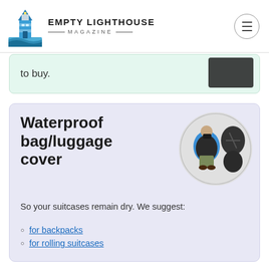EMPTY LIGHTHOUSE MAGAZINE
to buy.
Waterproof bag/luggage cover
So your suitcases remain dry. We suggest:
for backpacks
for rolling suitcases
If you're planning to visit Kbal Chhay Waterfall, prepare to get wet, and take these: